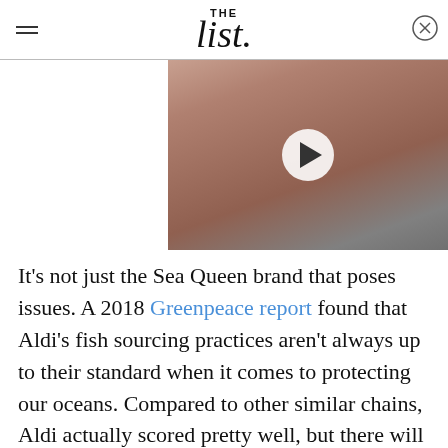THE list
[Figure (photo): Video thumbnail showing a red-haired bearded man in a suit with a white play button overlay, from The List website]
It's not just the Sea Queen brand that poses issues. A 2018 Greenpeace report found that Aldi's fish sourcing practices aren't always up to their standard when it comes to protecting our oceans. Compared to other similar chains, Aldi actually scored pretty well, but there will still some issues. Its tuna fishing practices were subpar across the board, but its albacore fishing was especially problematic. The report states, "ALDI needs to improve its albacore tuna sourcing